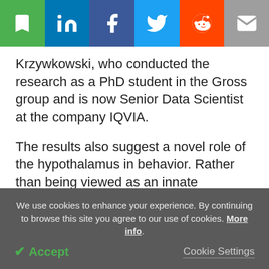[Figure (other): Social share bar with bookmark (green), LinkedIn (blue), Facebook (dark blue), Twitter (light blue), Reddit (orange), Email (grey) buttons]
Krzywkowski, who conducted the research as a PhD student in the Gross group and is now Senior Data Scientist at the company IQVIA.
The results also suggest a novel role of the hypothalamus in behavior. Rather than being viewed as an innate behavioral response region, the hypothalamus should be seen as a region that integrates present and past sensory and contextual information, processing the level of threat and
We use cookies to enhance your experience. By continuing to browse this site you agree to our use of cookies. More info.